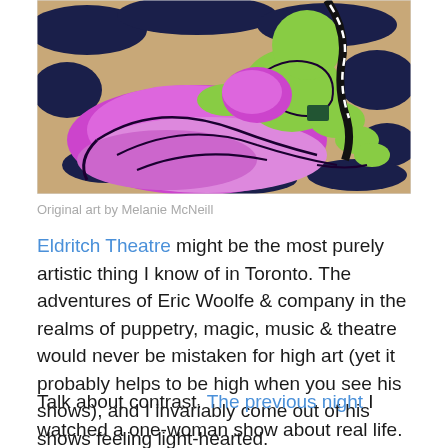[Figure (illustration): Comic-style illustration of a purple-robed figure with green skin lying on a rocky background, with a black and white braided element. Original artwork.]
Original art by Melanie McNeill
Eldritch Theatre might be the most purely artistic thing I know of in Toronto. The adventures of Eric Woolfe & company in the realms of puppetry, magic, music & theatre would never be mistaken for high art (yet it probably helps to be high when you see his shows), and I invariably come out of his shows feeling light-hearted.
Talk about contrast. The previous night I watched a one-woman show about real life. Tonight was pure theatricality, silli...